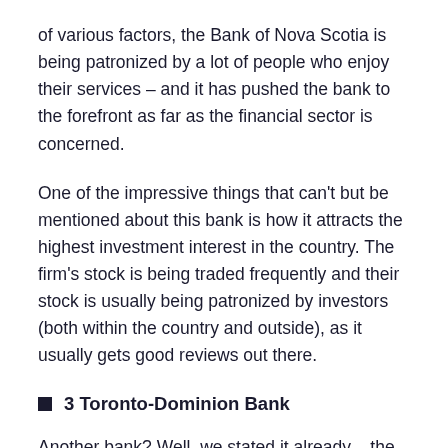of various factors, the Bank of Nova Scotia is being patronized by a lot of people who enjoy their services – and it has pushed the bank to the forefront as far as the financial sector is concerned.
One of the impressive things that can't but be mentioned about this bank is how it attracts the highest investment interest in the country. The firm's stock is being traded frequently and their stock is usually being patronized by investors (both within the country and outside), as it usually gets good reviews out there.
3 Toronto-Dominion Bank
Another bank? Well, we stated it already – the financial